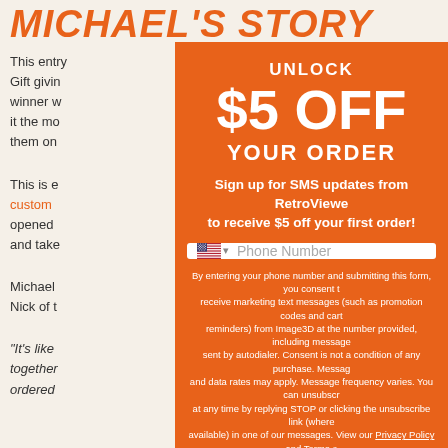MICHAEL'S STORY
This entry ... Gift giving ... winner w... it the mo... them on...
This is e... custom ... opened ... and take...
Michael ... Nick of t...
"It's like... together... ordered...
[Figure (other): Modal popup overlay on orange background with SMS signup offer: UNLOCK $5 OFF YOUR ORDER. Sign up for SMS updates from RetroViewer to receive $5 off your first order! Phone number input field with US flag. Fine print about consent to marketing text messages from Image3D. Links to Privacy Policy and Terms of Service. Dark bar at bottom with 'Sh...' text.]